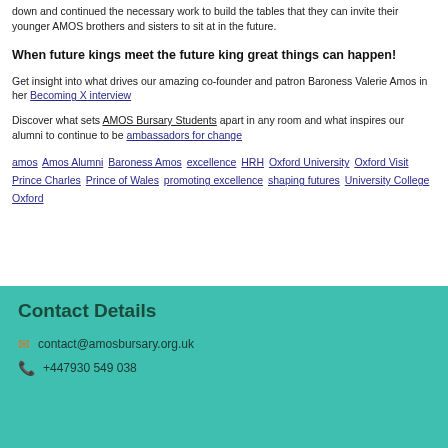down and continued the necessary work to build the tables that they can invite their younger AMOS brothers and sisters to sit at in the future.
When future kings meet the future king great things can happen!
Get insight into what drives our amazing co-founder and patron Baroness Valerie Amos in her Becoming X interview
Discover what sets AMOS Bursary Students apart in any room and what inspires our alumni to continue to be ambassadors for change
amos Amos Alumni Baroness Amos excellence HRH Oxford University Oxford Visit Prince Charles Prince of Wales promoting excellence shaping futures University College Oxford
Contact Details
contact@amosbursary.org.uk
+447930 549 038